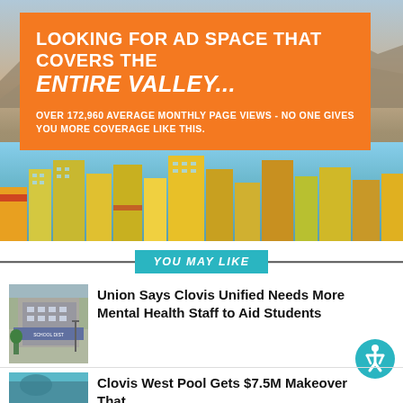[Figure (photo): Aerial photo of city buildings/downtown area with mountains in background, overlaid with orange advertisement box]
LOOKING FOR AD SPACE THAT COVERS THE ENTIRE VALLEY...
OVER 172,960 AVERAGE MONTHLY PAGE VIEWS - NO ONE GIVES YOU MORE COVERAGE LIKE THIS.
YOU MAY LIKE
[Figure (photo): School building exterior photo thumbnail]
Union Says Clovis Unified Needs More Mental Health Staff to Aid Students
[Figure (photo): Thumbnail image for second news story about Clovis West Pool]
Clovis West Pool Gets $7.5M Makeover That...